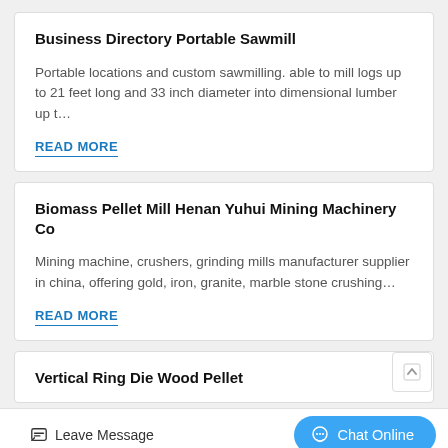Business Directory Portable Sawmill
Portable locations and custom sawmilling. able to mill logs up to 21 feet long and 33 inch diameter into dimensional lumber up t…
READ MORE
Biomass Pellet Mill Henan Yuhui Mining Machinery Co
Mining machine, crushers, grinding mills manufacturer supplier in china, offering gold, iron, granite, marble stone crushing…
READ MORE
Vertical Ring Die Wood Pellet
Leave Message
Chat Online